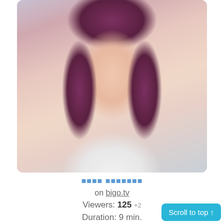[Figure (photo): Portrait photo of a young woman with reddish-brown hair in a high ponytail, wearing a white top, selfie-style photo]
🟦🟦🟦🟦 🟦🟦🟦🟦🟦🟦🟦 on bigo.tv Viewers: 125 +2 Duration: 9 min.
2281
[Figure (photo): Portrait photo of a young woman with dark hair, close-up showing face and eyes]
Scroll to top ↑